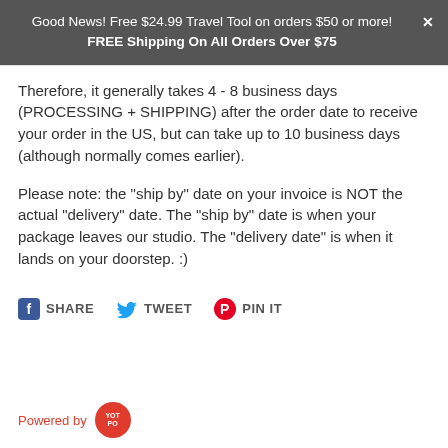Good News! Free $24.99 Travel Tool on orders $50 or more!
FREE Shipping On All Orders Over $75
Therefore, it generally takes 4 - 8 business days (PROCESSING + SHIPPING) after the order date to receive your order in the US, but can take up to 10 business days (although normally comes earlier).
Please note: the "ship by" date on your invoice is NOT the actual "delivery" date. The "ship by" date is when your package leaves our studio. The "delivery date" is when it lands on your doorstep. :)
SHARE  TWEET  PIN IT
Powered by YOTPO